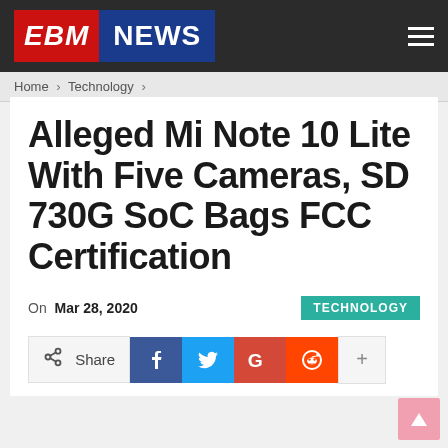EBM NEWS
Home > Technology >
Alleged Mi Note 10 Lite With Five Cameras, SD 730G SoC Bags FCC Certification
On Mar 28, 2020  TECHNOLOGY
Share